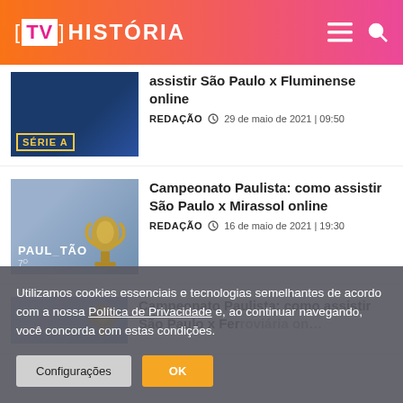[TV] HISTÓRIA
assistir São Paulo x Fluminense online
REDAÇÃO  29 de maio de 2021 | 09:50
Campeonato Paulista: como assistir São Paulo x Mirassol online
REDAÇÃO  16 de maio de 2021 | 19:30
Campeonato Paulista: como assistir São Paulo x Ferroviária online
Utilizamos cookies essenciais e tecnologias semelhantes de acordo com a nossa Política de Privacidade e, ao continuar navegando, você concorda com estas condições.
Configurações
OK